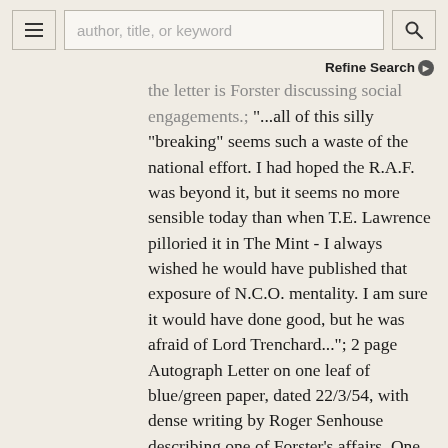author, title, or keyword [search bar] [menu]
Refine Search
the letter is Forster discussing social engagements.; "...all of this silly "breaking" seems such a waste of the national effort. I had hoped the R.A.F. was beyond it, but it seems no more sensible today than when T.E. Lawrence pilloried it in The Mint - I always wished he would have published that exposure of N.C.O. mentality. I am sure it would have done good, but he was afraid of Lord Trenchard..."; 2 page Autograph Letter on one leaf of blue/green paper, dated 22/3/54, with dense writing by Roger Senhouse describing one of Forster's affairs. One horizontal fold, very mild wear to extremities; "Hill of Devi. Dinner at the Savile, to welcome Ragnar